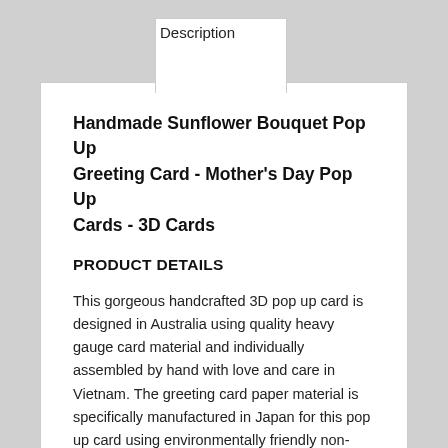Description
Handmade Sunflower Bouquet Pop Up Greeting Card - Mother's Day Pop Up Cards - 3D Cards
PRODUCT DETAILS
This gorgeous handcrafted 3D pop up card is designed in Australia using quality heavy gauge card material and individually assembled by hand with love and care in Vietnam. The greeting card paper material is specifically manufactured in Japan for this pop up card using environmentally friendly non-toxic paper sources.
What appears to be an ordinary gift card, when open by the recipient reveals a delightfully exquisite laser cut, hand assembled paper sculpture, a beautiful